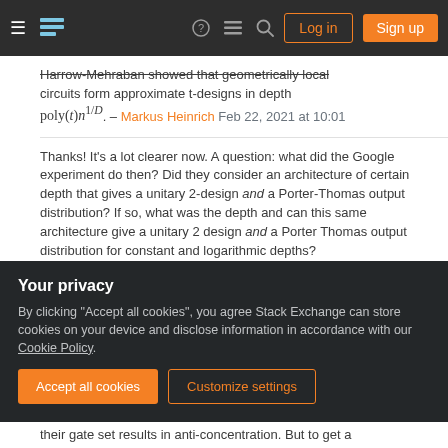Stack Exchange navigation bar with Login and Sign up buttons
Harrow-Mehraban showed that geometrically local circuits form approximate t-designs in depth poly(t)n^{1/D}. – Markus Heinrich Feb 22, 2021 at 10:01
Thanks! It's a lot clearer now. A question: what did the Google experiment do then? Did they consider an architecture of certain depth that gives a unitary 2-design and a Porter-Thomas output distribution? If so, what was the depth and can this same architecture give a unitary 2 design and a Porter Thomas output distribution for constant and logarithmic depths? – BlackHat18 Feb 22, 2021 at 10:13
@BlackHat18 Your first comment was too much to ...
Your privacy
By clicking "Accept all cookies", you agree Stack Exchange can store cookies on your device and disclose information in accordance with our Cookie Policy.
their gate set results in anti-concentration. But to get a